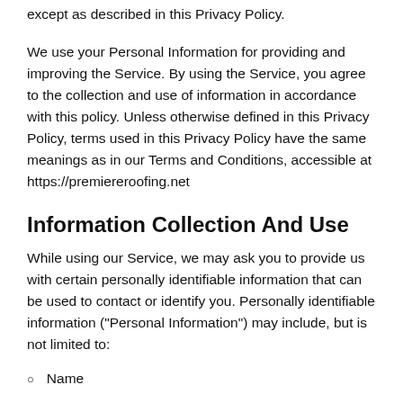except as described in this Privacy Policy.
We use your Personal Information for providing and improving the Service. By using the Service, you agree to the collection and use of information in accordance with this policy. Unless otherwise defined in this Privacy Policy, terms used in this Privacy Policy have the same meanings as in our Terms and Conditions, accessible at https://premiereroofing.net
Information Collection And Use
While using our Service, we may ask you to provide us with certain personally identifiable information that can be used to contact or identify you. Personally identifiable information ("Personal Information") may include, but is not limited to:
Name